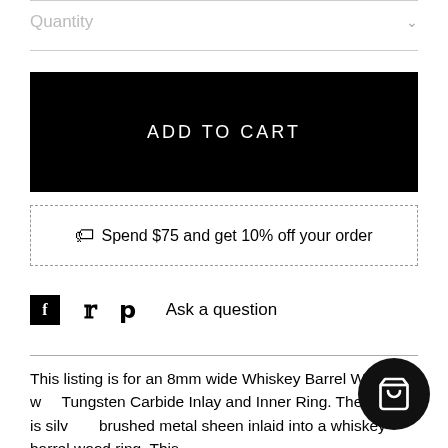Quantity
ADD TO CART
Spend $75 and get 10% off your order
Ask a question
This listing is for an 8mm wide Whiskey Barrel Wood w... Tungsten Carbide Inlay and Inner Ring. The metal is silv... a brushed metal sheen inlaid into a whiskey barrel wood ring. This ...